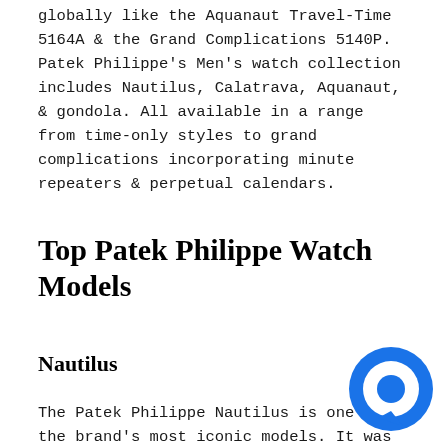globally like the Aquanaut Travel-Time 5164A & the Grand Complications 5140P. Patek Philippe's Men's watch collection includes Nautilus, Calatrava, Aquanaut, & gondola. All available in a range from time-only styles to grand complications incorporating minute repeaters & perpetual calendars.
Top Patek Philippe Watch Models
Nautilus
The Patek Philippe Nautilus is one of the brand's most iconic models. It was first unveiled in 1976 as a successor to the Patek Philippe Gerald Genta Nautilus. The original model was available in 18k gold or stainless steel & featured a quartz movement. The current models are available in 18k gold, platinum, & stainless steel with various automatic movements.